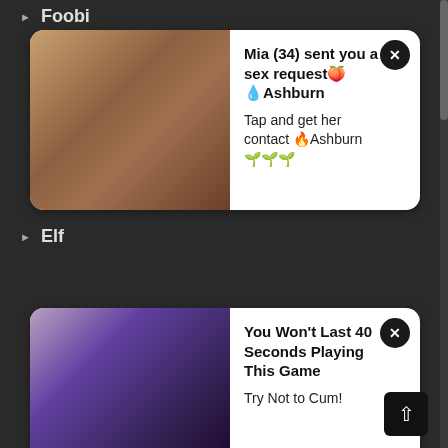Foobi
[Figure (screenshot): Ad card 1: Photo of woman on left; text on right: 'Mia (34) sent you a sex request 🍑 💧Ashburn — Tap and get her contact 🔥Ashburn 🌱🌱🌱']
Elf
[Figure (screenshot): Ad card 2: Animated/rendered image on left; text on right: 'You Won't Last 40 Seconds Playing This Game — Try Not to Cum!']
Exhibitionism
Eyemask
Eyepatch
Facesitting
Fairy
Family
Fantasy